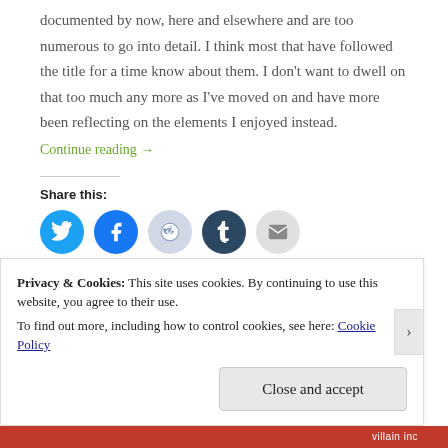documented by now, here and elsewhere and are too numerous to go into detail. I think most that have followed the title for a time know about them. I don’t want to dwell on that too much any more as I’ve moved on and have more been reflecting on the elements I enjoyed instead.
Continue reading →
Share this:
[Figure (infographic): Social share buttons: Twitter (blue circle), Facebook (blue circle), Reddit (light blue circle), Tumblr (dark teal circle), Email (grey circle)]
Privacy & Cookies: This site uses cookies. By continuing to use this website, you agree to their use. To find out more, including how to control cookies, see here: Cookie Policy
Close and accept